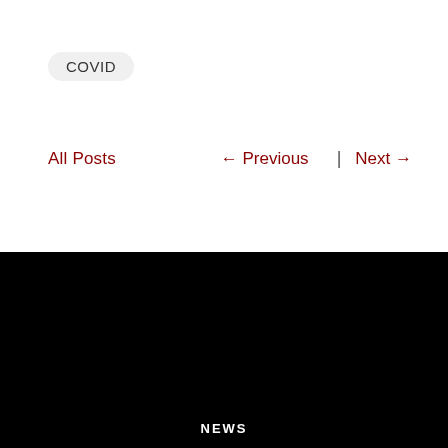COVID
All Posts
← Previous  |  Next →
[Figure (logo): Archdiocese of San Francisco shield/crest logo in grayscale with bishop's mitre, cross, and dove motif]
ARCHDIOCESE OF SAN FRANCISCO
NEWS